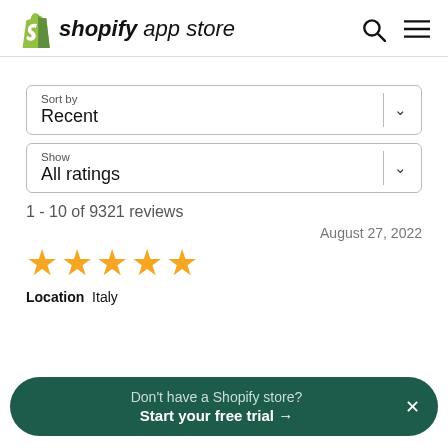shopify app store
Sort by
Recent
Show
All ratings
1 - 10 of 9321 reviews
[Figure (other): Five gold star rating icons]
August 27, 2022
Location  Italy
Don't have a Shopify store?
Start your free trial →